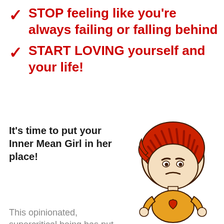STOP feeling like you're always failing or falling behind
START LOVING yourself and your life!
It's time to put your Inner Mean Girl in her place!
This opinionated, supercritical being has put
[Figure (illustration): Cartoon illustration of an angry girl with red hair wearing a yellow shirt with a heart on it]